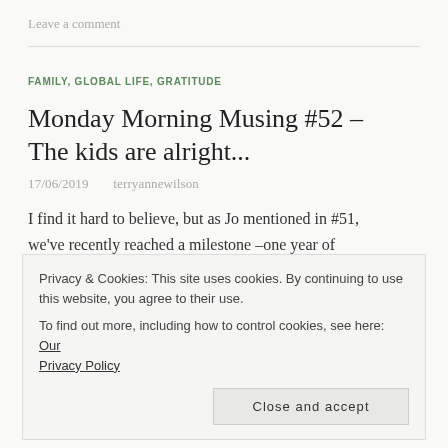Leave a comment
FAMILY, GLOBAL LIFE, GRATITUDE
Monday Morning Musing #52 – The kids are alright...
17/06/2019   terryannewilson
I find it hard to believe, but as Jo mentioned in #51, we've recently reached a milestone –one year of
Privacy & Cookies: This site uses cookies. By continuing to use this website, you agree to their use.
To find out more, including how to control cookies, see here: Our Privacy Policy
Close and accept